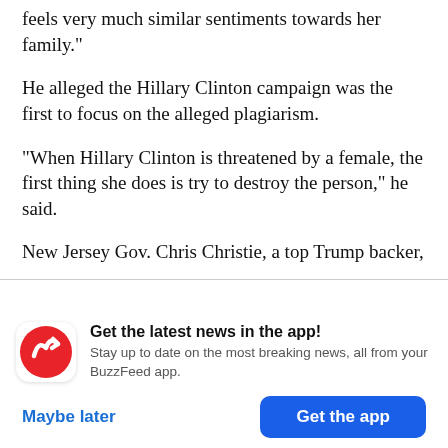feels very much similar sentiments towards her family."
He alleged the Hillary Clinton campaign was the first to focus on the alleged plagiarism.
"When Hillary Clinton is threatened by a female, the first thing she does is try to destroy the person," he said.
New Jersey Gov. Chris Christie, a top Trump backer,
[Figure (infographic): BuzzFeed app notification prompt with red BuzzFeed logo icon, bold title 'Get the latest news in the app!', subtitle text 'Stay up to date on the most breaking news, all from your BuzzFeed app.', and two buttons: 'Maybe later' (blue text) and 'Get the app' (white text on blue button).]